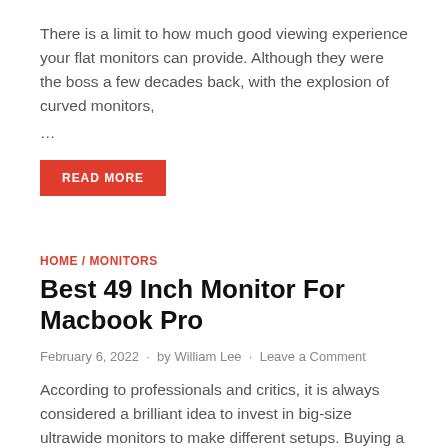There is a limit to how much good viewing experience your flat monitors can provide. Although they were the boss a few decades back, with the explosion of curved monitors, ...
READ MORE
HOME / MONITORS
Best 49 Inch Monitor For Macbook Pro
February 6, 2022 · by William Lee · Leave a Comment
According to professionals and critics, it is always considered a brilliant idea to invest in big-size ultrawide monitors to make different setups. Buying a single big size curved ultrawide monitor ...
READ MORE